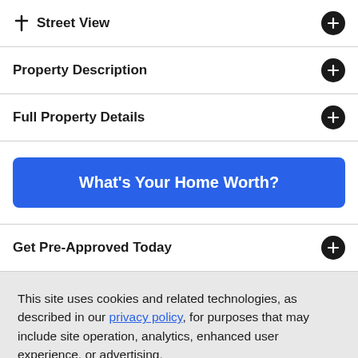Street View
Property Description
Full Property Details
What's Your Home Worth?
Get Pre-Approved Today
This site uses cookies and related technologies, as described in our privacy policy, for purposes that may include site operation, analytics, enhanced user experience, or advertising.
Manage Preferences
Accept